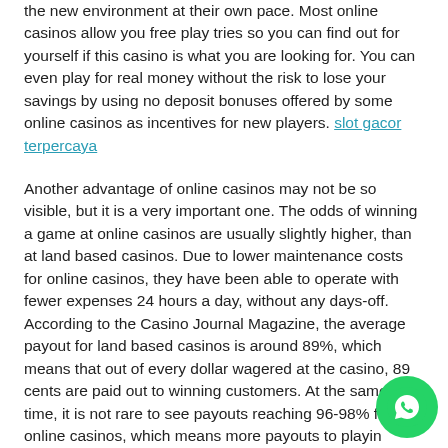the new environment at their own pace. Most online casinos allow you free play tries so you can find out for yourself if this casino is what you are looking for. You can even play for real money without the risk to lose your savings by using no deposit bonuses offered by some online casinos as incentives for new players. slot gacor terpercaya
Another advantage of online casinos may not be so visible, but it is a very important one. The odds of winning a game at online casinos are usually slightly higher, than at land based casinos. Due to lower maintenance costs for online casinos, they have been able to operate with fewer expenses 24 hours a day, without any days-off. According to the Casino Journal Magazine, the average payout for land based casinos is around 89%, which means that out of every dollar wagered at the casino, 89 cents are paid out to winning customers. At the same time, it is not rare to see payouts reaching 96-98% for online casinos, which means more payouts to playing customers!